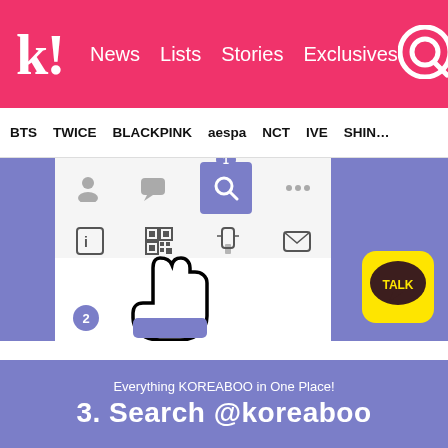k! News Lists Stories Exclusives
BTS TWICE BLACKPINK aespa NCT IVE SHIN…
[Figure (screenshot): KakaoTalk app screenshot showing friend search interface with step 1 (search icon highlighted) and step 2 (hand cursor pointing), surrounded by purple background panels. KakaoTalk TALK logo visible on right.]
Step 3. Search @koreaboo (You have to use a lowercase k!!) and ADD US! 😁
[Figure (screenshot): Purple banner with text 'Everything KOREABOO in One Place!' and '3. Search @koreaboo']